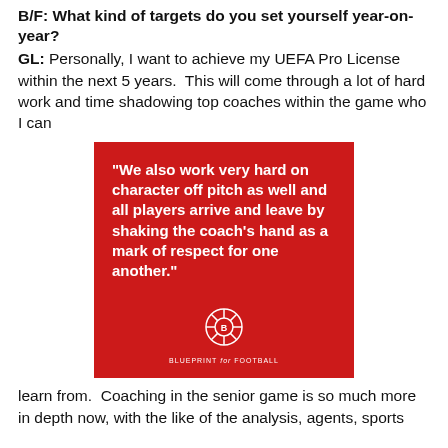B/F: What kind of targets do you set yourself year-on-year?
GL: Personally, I want to achieve my UEFA Pro License within the next 5 years.  This will come through a lot of hard work and time shadowing top coaches within the game who I can
[Figure (infographic): Red square graphic with white bold text quote: "We also work very hard on character off pitch as well and all players arrive and leave by shaking the coach's hand as a mark of respect for one another." Below the text is a white Blueprint for Football logo (soccer ball-like icon with letter B and the text BLUEPRINT FOR FOOTBALL).]
learn from.  Coaching in the senior game is so much more in depth now, with the like of the analysis, agents, sports